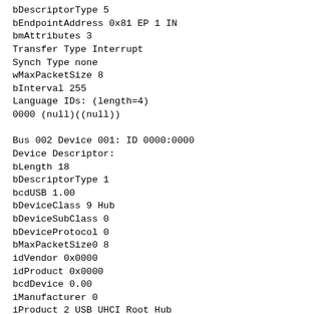bDescriptorType 5
bEndpointAddress 0x81 EP 1 IN
bmAttributes 3
Transfer Type Interrupt
Synch Type none
wMaxPacketSize 8
bInterval 255
Language IDs: (length=4)
0000 (null)((null))

Bus 002 Device 001: ID 0000:0000
Device Descriptor:
bLength 18
bDescriptorType 1
bcdUSB 1.00
bDeviceClass 9 Hub
bDeviceSubClass 0
bDeviceProtocol 0
bMaxPacketSize0 8
idVendor 0x0000
idProduct 0x0000
bcdDevice 0.00
iManufacturer 0
iProduct 2 USB UHCI Root Hub
iSerial 1 cc00
bNumConfigurations 1
Configuration Descriptor:
bLength 9
bDescriptorType 2
wTotalLength 25
bNumInterfaces 1